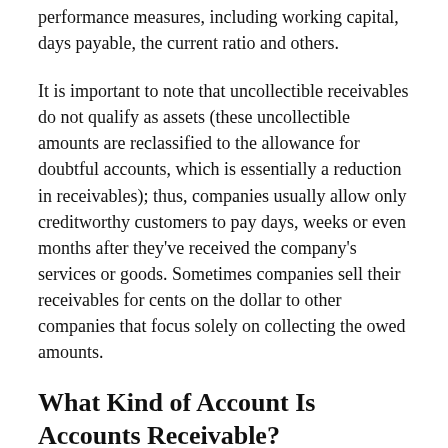performance measures, including working capital, days payable, the current ratio and others.
It is important to note that uncollectible receivables do not qualify as assets (these uncollectible amounts are reclassified to the allowance for doubtful accounts, which is essentially a reduction in receivables); thus, companies usually allow only creditworthy customers to pay days, weeks or even months after they've received the company's services or goods. Sometimes companies sell their receivables for cents on the dollar to other companies that focus solely on collecting the owed amounts.
What Kind of Account Is Accounts Receivable?
The amount of money owed to a business from their customer for a good or services provided is accounts